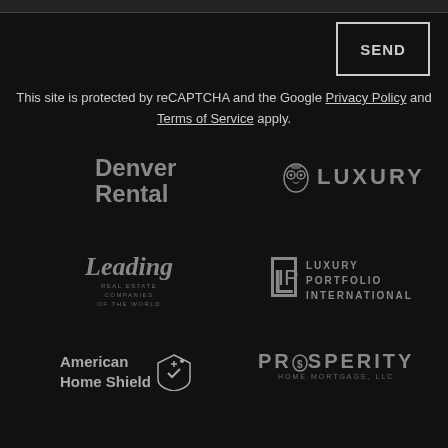SEND
This site is protected by reCAPTCHA and the Google Privacy Policy and Terms of Service apply.
[Figure (logo): Denver Rental logo in grey text on dark background]
[Figure (logo): Luxury logo with owl icon and text in grey on dark background]
[Figure (logo): Leading Real Estate Companies of the World logo in script grey text]
[Figure (logo): Luxury Portfolio International logo with LIP bracket monogram and text]
[Figure (logo): American Home Shield logo with house icon and text]
[Figure (logo): Prosperity Home Mortgage LLC logo in grey text]